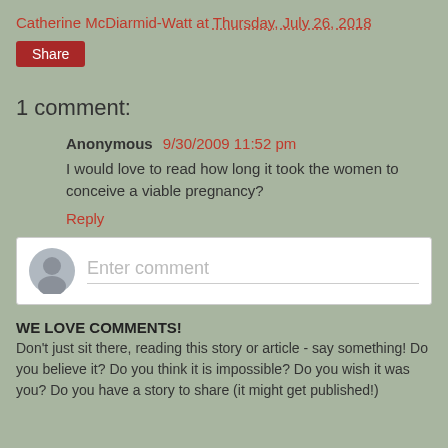Catherine McDiarmid-Watt at Thursday, July 26, 2018
[Figure (other): Share button (red rounded rectangle)]
1 comment:
Anonymous 9/30/2009 11:52 pm
I would love to read how long it took the women to conceive a viable pregnancy?
Reply
[Figure (other): Enter comment input box with avatar icon placeholder]
WE LOVE COMMENTS! Don't just sit there, reading this story or article - say something! Do you believe it? Do you think it is impossible? Do you wish it was you? Do you have a story to share (it might get published!)